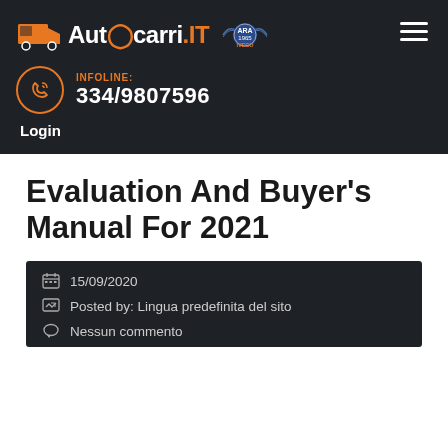Autocarri.IT — ARA 1965 IVECO — INFOLINE: 334/9807596 — Login
Evaluation And Buyer's Manual For 2021
15/09/2020
Posted by: Lingua predefinita del sito
Nessun commento